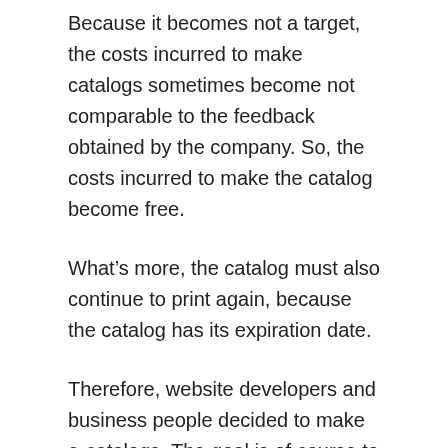Because it becomes not a target, the costs incurred to make catalogs sometimes become not comparable to the feedback obtained by the company. So, the costs incurred to make the catalog become free.
What’s more, the catalog must also continue to print again, because the catalog has its expiration date.
Therefore, website developers and business people decided to make e-catalogs. The goal is of course to reduce costs, because they don’t have to print, so it can be a little more profitable.
Today, the use of e-catalog is increasingly used by businesses or marketers because they are